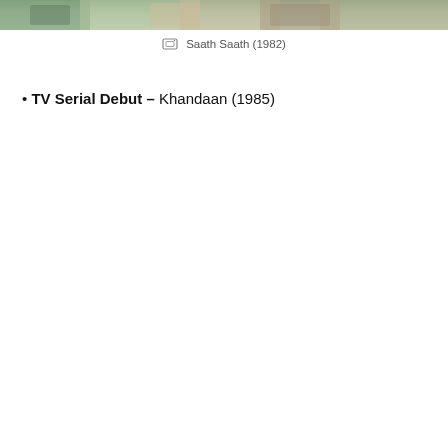[Figure (photo): A photo strip at the top of the page, partially visible, showing people in a scene from the film.]
Saath Saath (1982)
TV Serial Debut – Khandaan (1985)